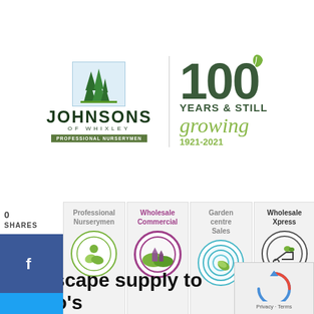[Figure (logo): Johnsons of Whixley Professional Nurserymen logo with trees icon and '100 Years & Still Growing 1921-2021' centenary badge]
[Figure (infographic): Navigation tiles: Professional Nurserymen, Wholesale Commercial, Garden centre Sales, Wholesale Xpress — each with circular icon]
0
SHARES
[Figure (infographic): Social media sharing sidebar: Facebook, Twitter, Pinterest, LinkedIn buttons]
☰ Menu
Landscape supply to Cosco's warehouse site